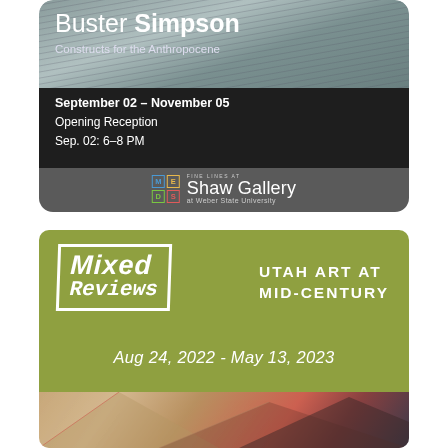[Figure (illustration): Art exhibition poster for 'Buster Simpson: Constructs for the Anthropocene' at Shaw Gallery, Weber State University. Shows textured gray/water background at top, dark band with event dates, and gray band with Shaw Gallery logo.]
[Figure (illustration): Art exhibition poster for 'Mixed Reviews: Utah Art at Mid-Century' showing olive green background with stylized Mixed Reviews logo box, white text, dates Aug 24 2022 - May 13 2023, and abstract painting imagery at bottom.]